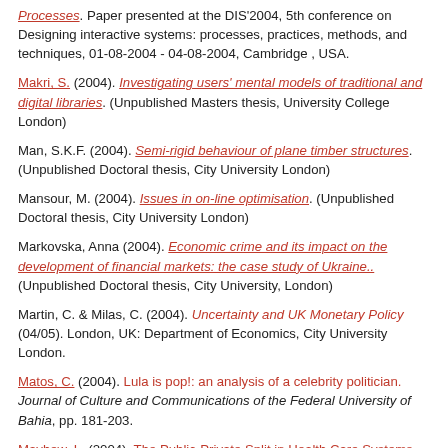[continuation] Processes. Paper presented at the DIS'2004, 5th conference on Designing interactive systems: processes, practices, methods, and techniques, 01-08-2004 - 04-08-2004, Cambridge , USA.
Makri, S. (2004). Investigating users' mental models of traditional and digital libraries. (Unpublished Masters thesis, University College London)
Man, S.K.F. (2004). Semi-rigid behaviour of plane timber structures. (Unpublished Doctoral thesis, City University London)
Mansour, M. (2004). Issues in on-line optimisation. (Unpublished Doctoral thesis, City University London)
Markovska, Anna (2004). Economic crime and its impact on the development of financial markets: the case study of Ukraine.. (Unpublished Doctoral thesis, City University, London)
Martin, C. & Milas, C. (2004). Uncertainty and UK Monetary Policy (04/05). London, UK: Department of Economics, City University London.
Matos, C. (2004). Lula is pop!: an analysis of a celebrity politician. Journal of Culture and Communications of the Federal University of Bahia, pp. 181-203.
Mayhew, L. (2004). The Public-Private Split in Health Care Systems. In: MacKellar, L., Andriouchina, E. & Horlacher, D. (Eds.), Policy Pathways to Health in the Russian Federation. (pp. 55-65).